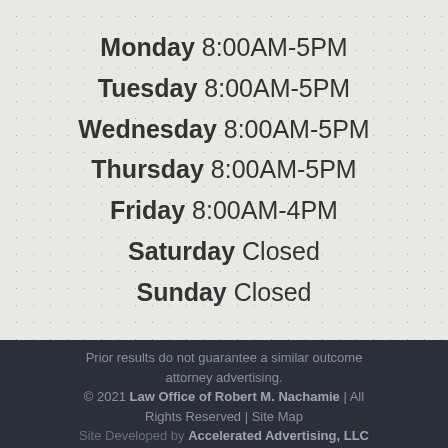Monday 8:00AM-5PM
Tuesday 8:00AM-5PM
Wednesday 8:00AM-5PM
Thursday 8:00AM-5PM
Friday 8:00AM-4PM
Saturday Closed
Sunday Closed
Prior results do not guarantee a similar outcome attorney advertising.
© 2021 Law Office of Robert M. Nachamie | All Rights Reserved | Site Map
Site Developed by Accelerated Advertising, LLC